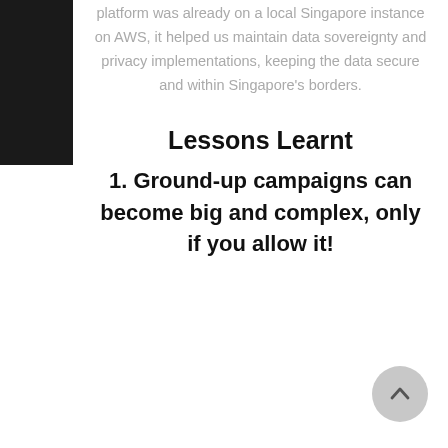platform was already on a local Singapore instance on AWS, it helped us maintain data sovereignty and privacy implementations, keeping the data secure and within Singapore's borders.
Lessons Learnt
1. Ground-up campaigns can become big and complex, only if you allow it!